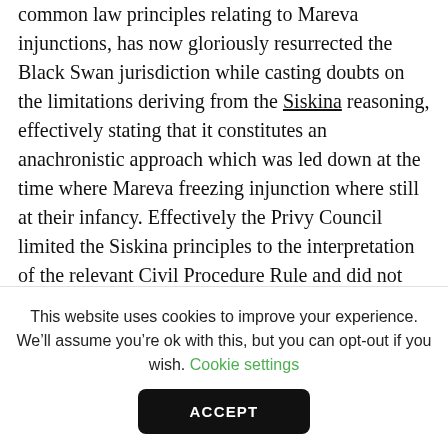common law principles relating to Mareva injunctions, has now gloriously resurrected the Black Swan jurisdiction while casting doubts on the limitations deriving from the Siskina reasoning, effectively stating that it constitutes an anachronistic approach which was led down at the time where Mareva freezing injunction where still at their infancy. Effectively the Privy Council limited the Siskina principles to the interpretation of the relevant Civil Procedure Rule and did not extend it to cover the jurisdiction to issue injunctions under the broad powers of the Court.
Cementing the “enforcement principle” underpinning freezing injunctions, the Privy Council held that Courts
This website uses cookies to improve your experience. We’ll assume you’re ok with this, but you can opt-out if you wish. Cookie settings
ACCEPT